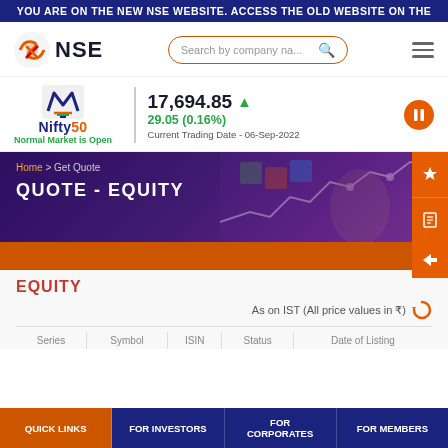YOU ARE ON THE NEW NSE WEBSITE. ACCESS THE OLD WEBSITE ON THE
[Figure (logo): NSE logo with orange geometric icon and NSE text]
Search by company na...
Nifty50  17,694.85 ▲  29.05 (0.16%)  Normal Market is Open  Current Trading Date - 06-Sep-2022
[Figure (screenshot): Hero banner with stock chart background, breadcrumb Home > Get Quote, title QUOTE - EQUITY]
QUOTE - EQUITY
Home > Get Quote
EQUITY
As on IST (All price values in ₹)
Series | Symbol | ISIN | Status | Date of Listing
QUICK LINKS  FOR INVESTORS  FOR CORPORATES  FOR MEMBERS